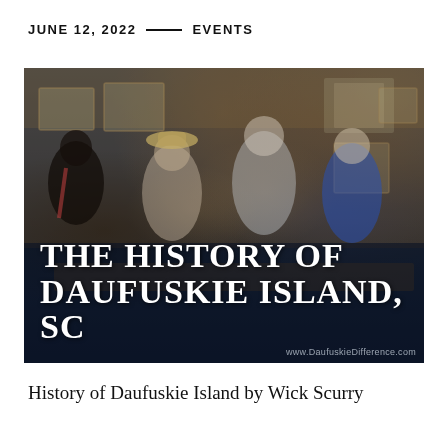JUNE 12, 2022 — EVENTS
[Figure (photo): People gathered around a table in a wood-paneled room with framed artwork on the walls, looking at something on the table. Text overlay reads 'THE HISTORY OF DAUFUSKIE ISLAND, SC'. Watermark: www.DaufuskieDifference.com]
History of Daufuskie Island by Wick Scurry